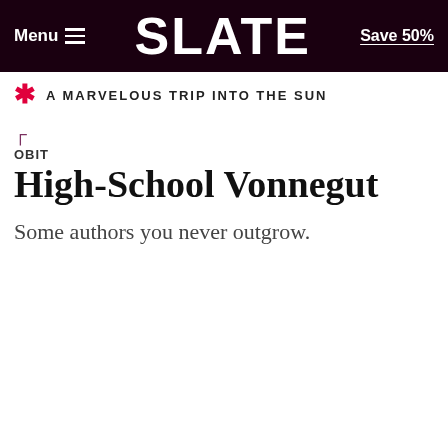Menu  SLATE  Save 50%
A MARVELOUS TRIP INTO THE SUN
High-School Vonnegut
Some authors you never outgrow.
We Use Cookies and Related Technology
Slate and our partners use cookies and related technology to deliver relevant advertising on our site, in emails and across the Internet. We and our partners also use these technologies to personalize content and perform site analytics. For more information, see our terms and privacy policy.  Privacy Policy
OK